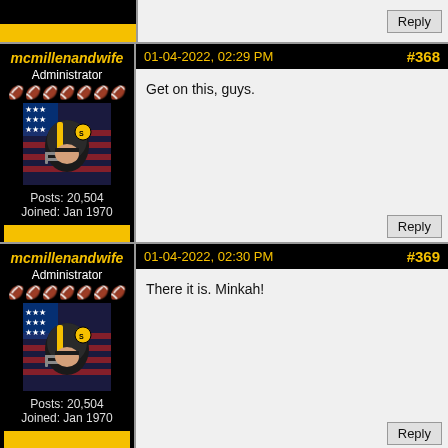[Figure (screenshot): Top partial forum post row with yellow bar and Reply button]
mcmillenandwife — Administrator — Posts: 20,504 — Joined: Jan 1970
01-04-2022, 02:29 PM  #368
Get on this, guys.
mcmillenandwife — Administrator — Posts: 20,504 — Joined: Jan 1970
01-04-2022, 02:30 PM  #369
There it is. Minkah!